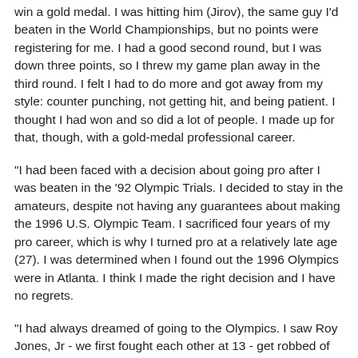win a gold medal. I was hitting him (Jirov), the same guy I'd beaten in the World Championships, but no points were registering for me. I had a good second round, but I was down three points, so I threw my game plan away in the third round. I felt I had to do more and got away from my style: counter punching, not getting hit, and being patient. I thought I had won and so did a lot of people. I made up for that, though, with a gold-medal professional career.
"I had been faced with a decision about going pro after I was beaten in the '92 Olympic Trials. I decided to stay in the amateurs, despite not having any guarantees about making the 1996 U.S. Olympic Team. I sacrificed four years of my pro career, which is why I turned pro at a relatively late age (27). I was determined when I found out the 1996 Olympics were in Atlanta. I think I made the right decision and I have no regrets.
"I had always dreamed of going to the Olympics. I saw Roy Jones, Jr - we first fought each other at 13 - get robbed of gold. I was watching that on television, jumped up, and knew where I was heading: The Olympics! We both suffered